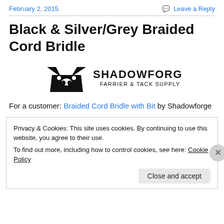February 2, 2015 | Leave a Reply
Black & Silver/Grey Braided Cord Bridle
[Figure (logo): Shadowforge Farrier & Tack Supply logo with stylized bull skull icon]
For a customer: Braided Cord Bridle with Bit by Shadowforge
Privacy & Cookies: This site uses cookies. By continuing to use this website, you agree to their use.
To find out more, including how to control cookies, see here: Cookie Policy
Close and accept